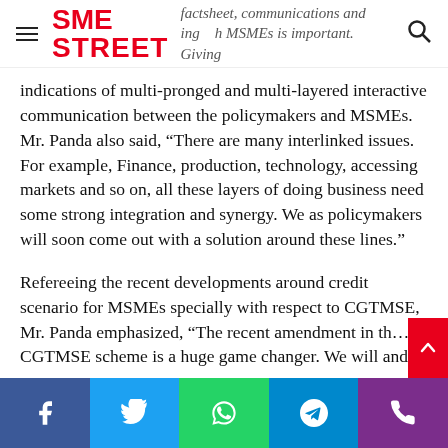SME STREET — factsheet, communications and ongoing growth in MSMEs is important. Giving
indications of multi-pronged and multi-layered interactive communication between the policymakers and MSMEs. Mr. Panda also said, “There are many interlinked issues. For example, Finance, production, technology, accessing markets and so on, all these layers of doing business need some strong integration and synergy. We as policymakers will soon come out with a solution around these lines.”

Refereeing the recent developments around credit scenario for MSMEs specially with respect to CGTMSE, Mr. Panda emphasized, “The recent amendment in the CGTMSE scheme is a huge game changer. We will and
Facebook  Twitter  WhatsApp  Telegram  Phone